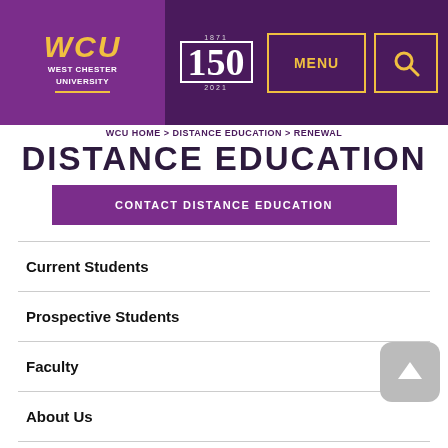[Figure (logo): West Chester University logo with WCU in gold italic letters and university name below in white, on purple background]
[Figure (logo): WCU 150th anniversary logo showing '150' in large text with '1871' above and '2021' below]
MENU
Search icon
WCU HOME > DISTANCE EDUCATION > RENEWAL
DISTANCE EDUCATION
CONTACT DISTANCE EDUCATION
Current Students
Prospective Students
Faculty
About Us